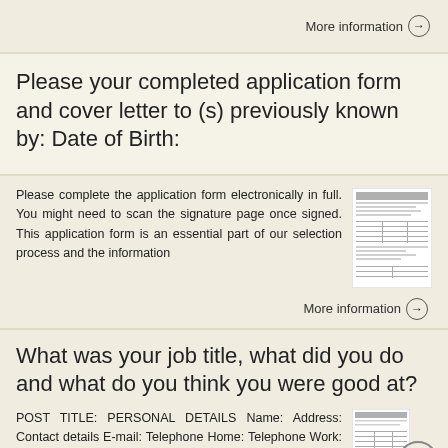More information →
Please your completed application form and cover letter to (s) previously known by: Date of Birth:
Please complete the application form electronically in full. You might need to scan the signature page once signed. This application form is an essential part of our selection process and the information
[Figure (screenshot): Thumbnail of an application form document]
More information →
What was your job title, what did you do and what do you think you were good at?
POST TITLE: PERSONAL DETAILS Name: Address: Contact details E-mail: Telephone Home: Telephone Work: Mobile: WORK
[Figure (screenshot): Thumbnail of a form document with back-to-top button]